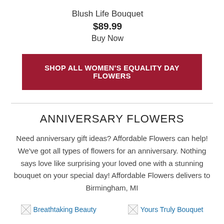Blush Life Bouquet
$89.99
Buy Now
SHOP ALL WOMEN'S EQUALITY DAY FLOWERS
ANNIVERSARY FLOWERS
Need anniversary gift ideas? Affordable Flowers can help! We've got all types of flowers for an anniversary. Nothing says love like surprising your loved one with a stunning bouquet on your special day! Affordable Flowers delivers to Birmingham, MI
Breathtaking Beauty
Yours Truly Bouquet